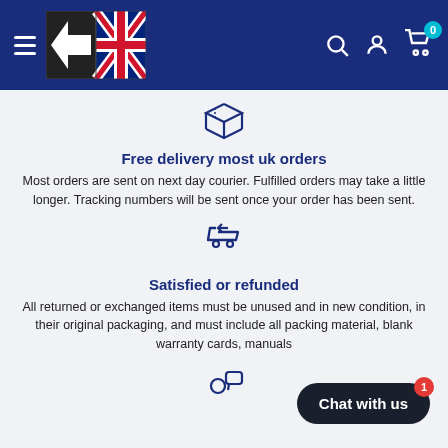[Figure (logo): Website header with navy blue background, hamburger menu icon on left, UK-themed logo (arrow and Union Jack), search icon, account icon, and cart icon with badge showing 0 on right]
[Figure (illustration): Blue outline icon of a package/box]
Free delivery most uk orders
Most orders are sent on next day courier. Fulfilled orders may take a little longer. Tracking numbers will be sent once your order has been sent.
[Figure (illustration): Blue outline icon of a shopping cart with return arrow]
Satisfied or refunded
All returned or exchanged items must be unused and in new condition, in their original packaging, and must include all packing material, blank warranty cards, manuals
[Figure (illustration): Blue outline icon of a chat bubble with person]
Chat with us